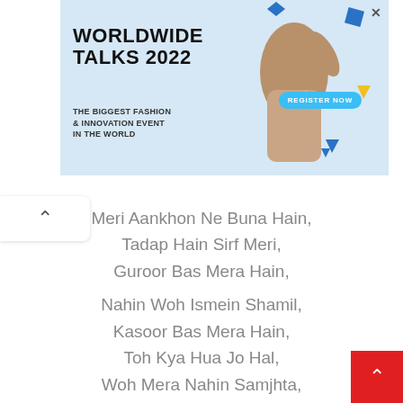[Figure (other): Advertisement banner for Worldwide Talks 2022 - The Biggest Fashion & Innovation Event In The World, with a Register Now button and decorative shapes/person silhouette]
Meri Aankhon Ne Buna Hain,
Tadap Hain Sirf Meri,
Guroor Bas Mera Hain,
Nahin Woh Ismein Shamil,
Kasoor Bas Mera Hain,
Toh Kya Hua Jo Hal,
Woh Mera Nahin Samjhta,
Mera Pyar Ek Tarrfa,
Mera Pyar Ek Tarrfa
Ye Bahar Ek Tarfa,